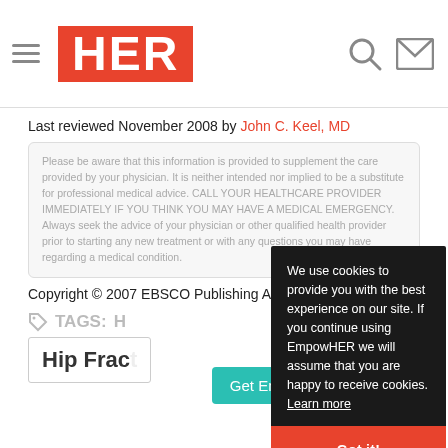HER (EmpowHER logo)
Last reviewed November 2008 by John C. Keel, MD
Please be aware that this information is provided to supplement the care provided by your physician. It is neither intended nor implied to be a substitute for professional medical advice. CALL YOUR HEALTHCARE PROVIDER IMMEDIATELY IF YOU THINK YOU MAY HAVE A MEDICAL EMERGENCY. Always seek the advice of your physician or other qualified health provider prior to starting any new treatment or with any questions you may have regarding a medical condition.
Copyright © 2007 EBSCO Publishing All rights reserved.
TAGS: H
Hip Frac
We use cookies to provide you with the best experience on our site. If you continue using EmpowHER we will assume that you are happy to receive cookies. Learn more
Got it!
Get Email Updates